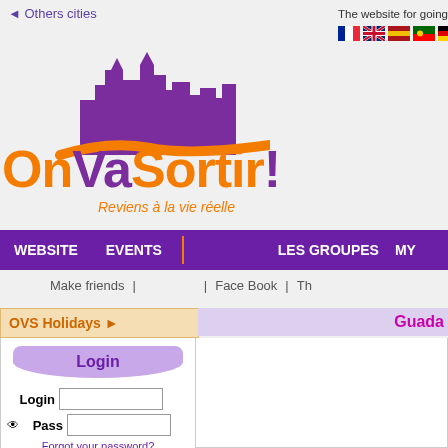◄ Others cities
The website for going out with frie
[Figure (logo): OnVaSortir! logo with purple city skyline silhouette and orange swoosh, text 'OnVaSortir!' in orange and purple, tagline 'Reviens à la vie réelle' in orange italic]
[Figure (infographic): Row of country flags: French, British, Spanish, Portuguese, German, Italian]
WEBSITE   EVENTS   |   LES GROUPES   MY
Make friends  |   |  Face Book  |  Th
OVS Holidays ►
Guada
Login
Login
Pass
Forgot your password?
Login
Remember me
» Register now «